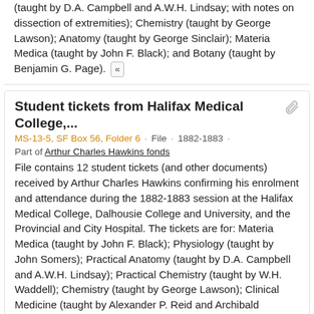(taught by D.A. Campbell and A.W.H. Lindsay; with notes on dissection of extremities); Chemistry (taught by George Lawson); Anatomy (taught by George Sinclair); Materia Medica (taught by John F. Black); and Botany (taught by Benjamin G. Page). «
Student tickets from Halifax Medical College,...
MS-13-5, SF Box 56, Folder 6 · File · 1882-1883 ·
Part of Arthur Charles Hawkins fonds
File contains 12 student tickets (and other documents) received by Arthur Charles Hawkins confirming his enrolment and attendance during the 1882-1883 session at the Halifax Medical College, Dalhousie College and University, and the Provincial and City Hospital. The tickets are for: Materia Medica (taught by John F. Black); Physiology (taught by John Somers); Practical Anatomy (taught by D.A. Campbell and A.W.H. Lindsay); Practical Chemistry (taught by W.H. Waddell); Chemistry (taught by George Lawson); Clinical Medicine (taught by Alexander P. Reid and Archibald Lawson); Practical Pharmacy (taught by C.E. Puttner and D. DeW. Harrington); Anatomy (taught by George Sinclair); and matriculation and library tickets. «